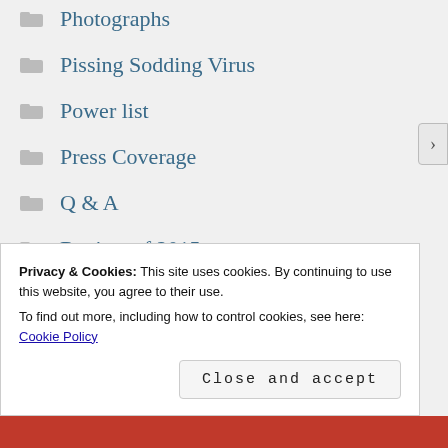Photographs
Pissing Sodding Virus
Power list
Press Coverage
Q & A
Review of 2015
Rob Key
Sam Curran
Sam Peters
Schools
Privacy & Cookies: This site uses cookies. By continuing to use this website, you agree to their use.
To find out more, including how to control cookies, see here: Cookie Policy
Close and accept